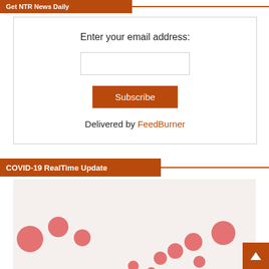Get NTR News Daily
Enter your email address:
Subscribe
Delivered by FeedBurner
COVID-19 RealTime Update
[Figure (map): Interactive world map showing COVID-19 cases as red circles of varying sizes scattered across different geographic locations. Zoom controls (+ and -) visible in the upper left of the map.]